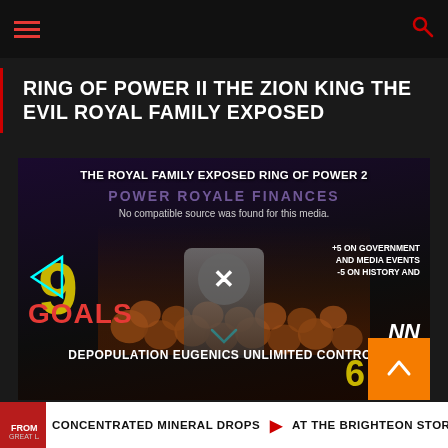Navigation menu and search icon
RING OF POWER II THE ZION KING THE EVIL ROYAL FAMILY EXPOSED
[Figure (screenshot): Video player screenshot showing a dark conspiracy theory video thumbnail. Text overlays read: 'THE ROYAL FAMILY EXPOSED RING OF POWER 2', 'No compatible source was found for this media.', 'POWER ROYALE FINANCES', number '9' in yellow, '+5 ON GOVERNMENT AND MEDIA EVENTS', '-5 ON HISTORY AND', 'GOALS', 'DEPOPULATION EUGENICS UNLIMITED CONTROL', number '6' in yellow, 'NN'. Imagery shows skulls and a figure. Orange block with chevron in bottom right.]
CONCENTRATED MINERAL DROPS AT THE BRIGHTEON STORE DROPS